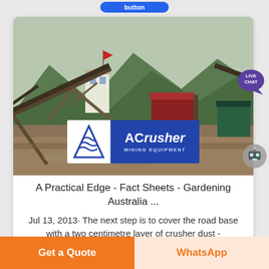[Figure (photo): Mining/crushing equipment facility with conveyor belts set against mountain backdrop, with ACrusher Mining Equipment logo overlay]
A Practical Edge - Fact Sheets - Gardening Australia ...
Jul 13, 2013· The next step is to cover the road base with a two centimetre layer of crusher dust -